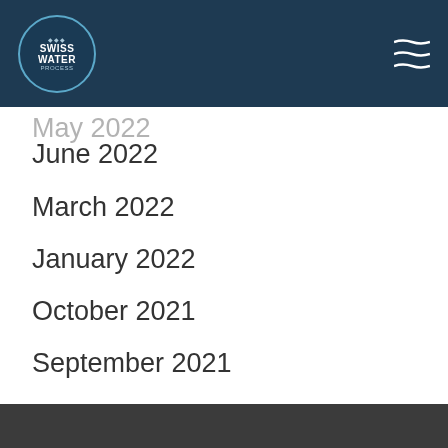Swiss Water Process logo and navigation menu header
May 2022
June 2022
March 2022
January 2022
October 2021
September 2021
August 2021
June 2021
May 2021
See All